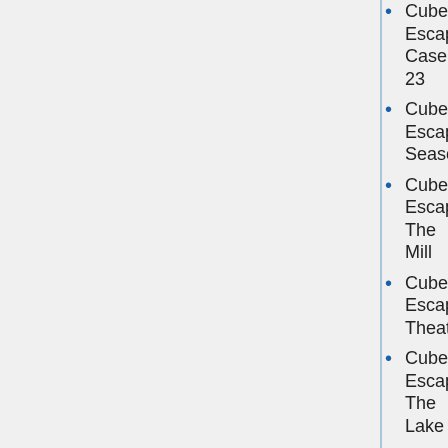Cube Escape Case 23
Cube Escape Seasons
Cube Escape The Mill
Cube Escape Theatre
Cube Escape: The Lake
Cuboy
Man From Zelda
Klikwerk
Knight vs. Knight
Knightmare Gloves
Kohaku Manju
Kore Karts
Kuzco: Quest for Gold
LAB
Lead A
Smiley Showdown
Snack-o-Lantern
Snakes on a Cartesian Plane (Hacked)
Soap Bubble
Solid Rider 2
Sonic Blox
Sonic Boom Cannon
Prime Racing
Xunmat Alpha Knights
Yarr TD
You Can Choose Itagora 21 or Intelligence Inspection 45
You Find Yourself In A